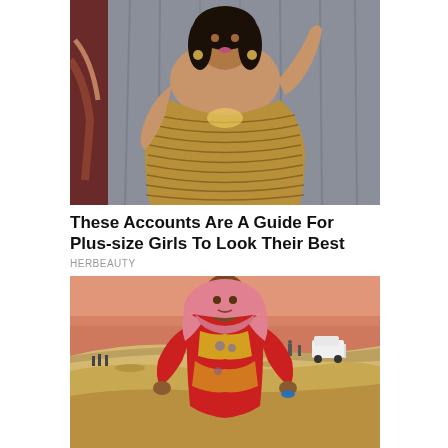[Figure (photo): A plus-size woman in a gold/bronze ribbed strapless dress posing in front of a grey curtain backdrop]
These Accounts Are A Guide For Plus-size Girls To Look Their Best
HERBEAUTY
[Figure (photo): A woman in colorful red and gold patterned outfit with a pink headscarf, posing with hands on hips on sand dunes in a desert setting, with people and a white SUV visible in the background]